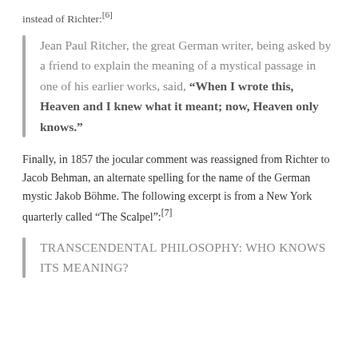instead of Richter:[6]
Jean Paul Ritcher, the great German writer, being asked by a friend to explain the meaning of a mystical passage in one of his earlier works, said, “When I wrote this, Heaven and I knew what it meant; now, Heaven only knows.”
Finally, in 1857 the jocular comment was reassigned from Richter to Jacob Behman, an alternate spelling for the name of the German mystic Jakob Böhme. The following excerpt is from a New York quarterly called “The Scalpel”:[7]
TRANSCENDENTAL PHILOSOPHY: WHO KNOWS ITS MEANING?